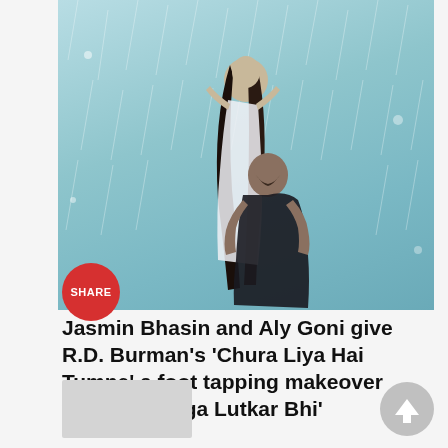[Figure (photo): A couple in the rain — a woman in white being held by a man in dark clothing, with a teal/blue rainy background. A red 'SHARE' button overlays the bottom-left corner of the image.]
Jasmin Bhasin and Aly Goni give R.D. Burman's 'Chura Liya Hai Tumne' a foot tapping makeover with 'Sajaunga Lutkar Bhi'